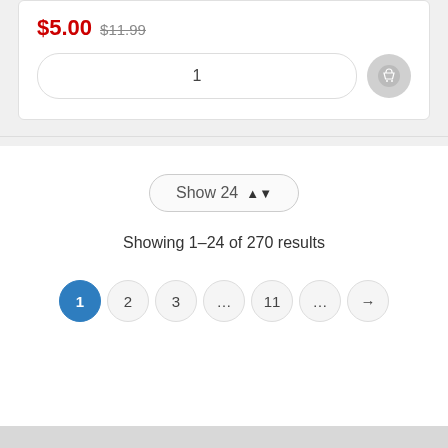$5.00 $11.99
1
Show 24
Showing 1–24 of 270 results
1 2 3 ... 11 ... →